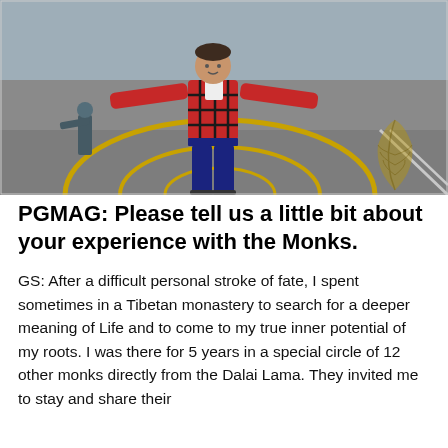[Figure (photo): A person standing on a helipad or tarmac area with arms outstretched wide, wearing a red/black plaid shirt and dark jeans. Another person is visible in the background. Yellow circular helipad markings are on the ground. A gold leaf watermark appears in the lower right corner of the image.]
PGMAG: Please tell us a little bit about your experience with the Monks.
GS: After a difficult personal stroke of fate, I spent sometimes in a Tibetan monastery to search for a deeper meaning of Life and to come to my true inner potential of my roots. I was there for 5 years in a special circle of 12 other monks directly from the Dalai Lama. They invited me to stay and share their